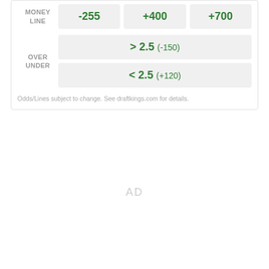|  | Team 1 | Team 2 | Team 3 |
| --- | --- | --- | --- |
| MONEY LINE | -255 | +400 | +700 |
| OVER UNDER | > 2.5  (-150) / < 2.5  (+120) |  |  |
Odds/Lines subject to change. See draftkings.com for details.
AD